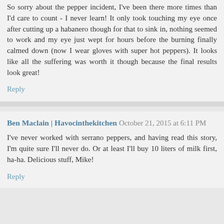So sorry about the pepper incident, I've been there more times than I'd care to count - I never learn! It only took touching my eye once after cutting up a habanero though for that to sink in, nothing seemed to work and my eye just wept for hours before the burning finally calmed down (now I wear gloves with super hot peppers). It looks like all the suffering was worth it though because the final results look great!
Reply
Ben Maclain | Havocinthekitchen  October 21, 2015 at 6:11 PM
I've never worked with serrano peppers, and having read this story, I'm quite sure I'll never do. Or at least I'll buy 10 liters of milk first, ha-ha. Delicious stuff, Mike!
Reply